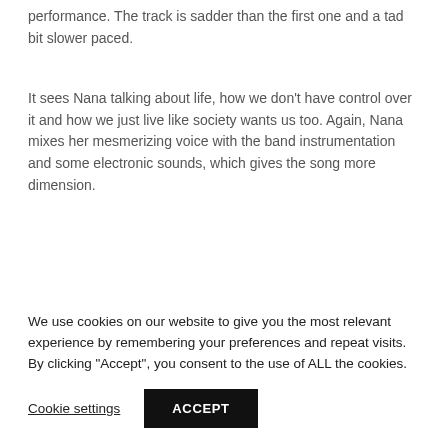performance. The track is sadder than the first one and a tad bit slower paced.
It sees Nana talking about life, how we don't have control over it and how we just live like society wants us too. Again, Nana mixes her mesmerizing voice with the band instrumentation and some electronic sounds, which gives the song more dimension.
The third and last single performed is titled "Cardboard Castle" and it is a more energetic track, with even a rock feel to it. It is
We use cookies on our website to give you the most relevant experience by remembering your preferences and repeat visits. By clicking "Accept", you consent to the use of ALL the cookies.
Cookie settings
ACCEPT